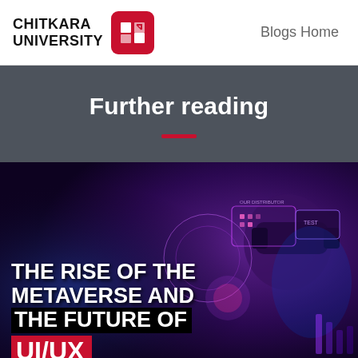CHITKARA UNIVERSITY | Blogs Home
Further reading
[Figure (illustration): Promotional blog thumbnail image with dark purple/blue background showing a person wearing a VR headset interacting with holographic UI elements. Text overlay reads: THE RISE OF THE METAVERSE AND THE FUTURE OF UI/UX]